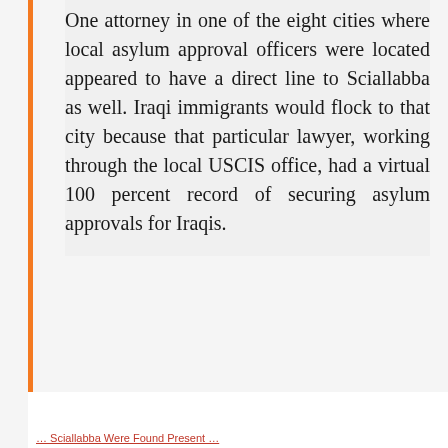One attorney in one of the eight cities where local asylum approval officers were located appeared to have a direct line to Sciallabba as well. Iraqi immigrants would flock to that city because that particular lawyer, working through the local USCIS office, had a virtual 100 percent record of securing asylum approvals for Iraqis.
… Sciallabba Were Found Present …